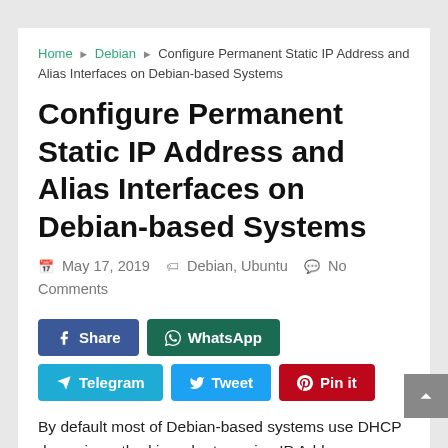Home ▶ Debian ▶ Configure Permanent Static IP Address and Alias Interfaces on Debian-based Systems
Configure Permanent Static IP Address and Alias Interfaces on Debian-based Systems
May 17, 2019  Debian, Ubuntu  No Comments
[Figure (other): Social share buttons: Share (Facebook), WhatsApp, Telegram, Tweet, Pin it (Pinterest)]
By default most of Debian-based systems use DHCP dynamic method in order to assign IP Addresses on